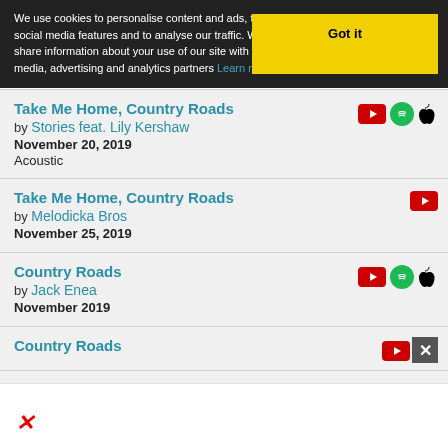We use cookies to personalise content and ads, to provide social media features and to analyse our traffic. We also share information about your use of our site with our social media, advertising and analytics partners Learn more
Take Me Home, Country Roads by Stories feat. Lily Kershaw — November 20, 2019 — Acoustic
Take Me Home, Country Roads by Melodicka Bros — November 25, 2019
Country Roads by Jack Enea — November 2019
Country Roads